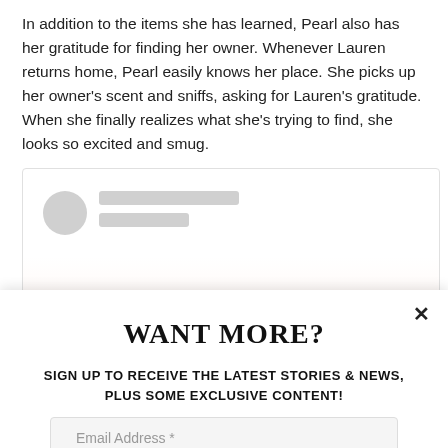In addition to the items she has learned, Pearl also has her gratitude for finding her owner. Whenever Lauren returns home, Pearl easily knows her place. She picks up her owner's scent and sniffs, asking for Lauren's gratitude. When she finally realizes what she's trying to find, she looks so excited and smug.
[Figure (screenshot): Embedded social media card with a gray circular avatar placeholder and two gray placeholder lines for name/handle]
WANT MORE?
SIGN UP TO RECEIVE THE LATEST STORIES & NEWS, PLUS SOME EXCLUSIVE CONTENT!
Email Address *